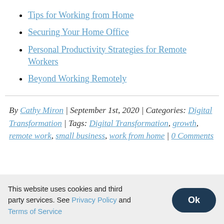Tips for Working from Home
Securing Your Home Office
Personal Productivity Strategies for Remote Workers
Beyond Working Remotely
By Cathy Miron | September 1st, 2020 | Categories: Digital Transformation | Tags: Digital Transformation, growth, remote work, small business, work from home | 0 Comments
This website uses cookies and third party services. See Privacy Policy and Terms of Service